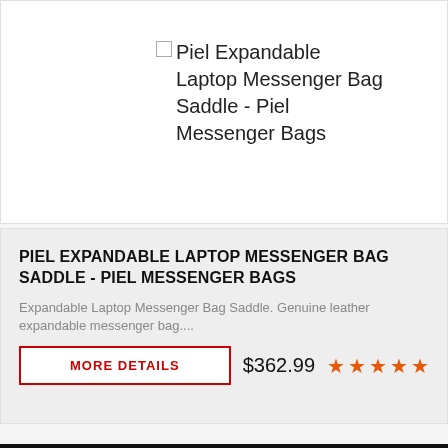Piel Expandable Laptop Messenger Bag Saddle - Piel Messenger Bags
PIEL EXPANDABLE LAPTOP MESSENGER BAG SADDLE - PIEL MESSENGER BAGS
Expandable Laptop Messenger Bag Saddle. Genuine leather expandable messenger bag....
MORE DETAILS
$362.99